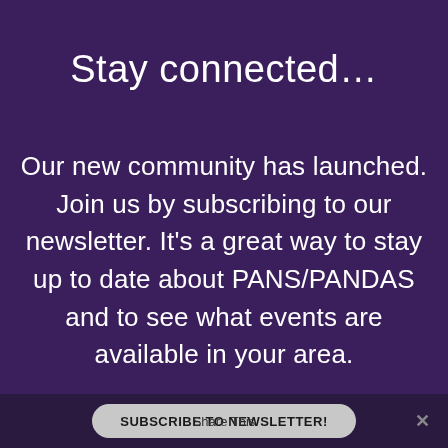Stay connected…
Our new community has launched. Join us by subscribing to our newsletter. It's a great way to stay up to date about PANS/PANDAS and to see what events are available in your area.
SUBSCRIBE TO NEWSLETTER!  Share This  ✕